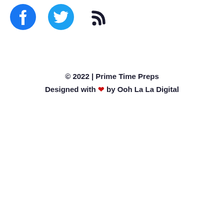[Figure (logo): Social media icons row: Facebook (blue circle with f), Twitter (blue bird), RSS feed (dark arc/dot symbol)]
© 2022 | Prime Time Preps
Designed with ❤ by Ooh La La Digital